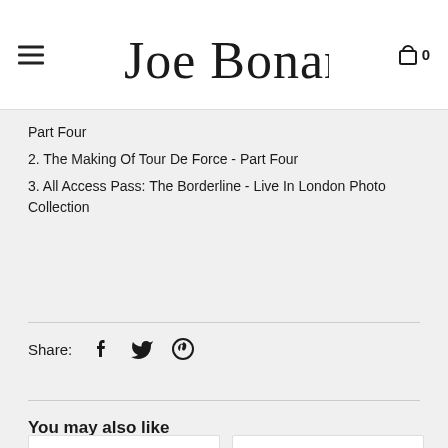Joe Bonamassa
Part Four
2. The Making Of Tour De Force - Part Four
3. All Access Pass: The Borderline - Live In London Photo Collection
Share:
You may also like